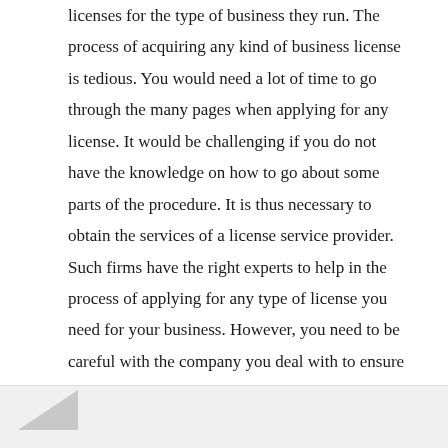licenses for the type of business they run. The process of acquiring any kind of business license is tedious. You would need a lot of time to go through the many pages when applying for any license. It would be challenging if you do not have the knowledge on how to go about some parts of the procedure. It is thus necessary to obtain the services of a license service provider. Such firms have the right experts to help in the process of applying for any type of license you need for your business. However, you need to be careful with the company you deal with to ensure that you get the right solution for your needs. There are many of such firms you can find in the market today...
read more